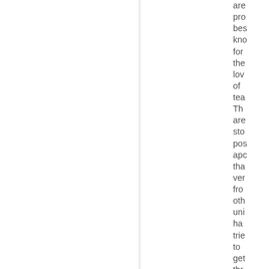are probably best known for the love of tea. The are stories positioned apocryphally that very from other universities have tried to get through the